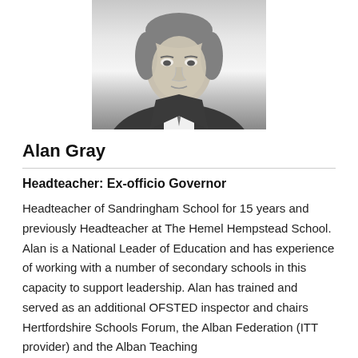[Figure (photo): Black and white headshot photograph of Alan Gray, a man in a suit and tie, cropped from shoulders up]
Alan Gray
Headteacher:  Ex-officio Governor
Headteacher of Sandringham School for 15 years and previously Headteacher at The Hemel Hempstead School. Alan is a National Leader of Education and has experience of working with a number of secondary schools in this capacity to support leadership. Alan has trained and served as an additional OFSTED inspector and chairs Hertfordshire Schools Forum, the Alban Federation (ITT provider) and the Alban Teaching